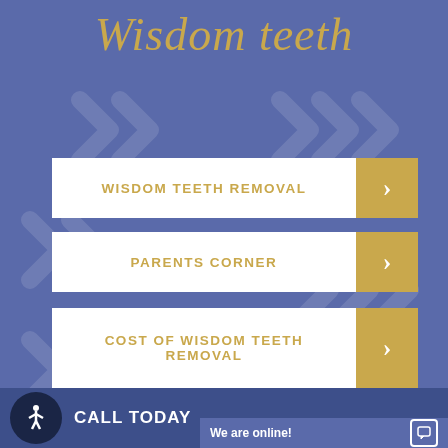Wisdom teeth
WISDOM TEETH REMOVAL
PARENTS CORNER
COST OF WISDOM TEETH REMOVAL
IMPACTED WISDOM TEETH
CALL TODAY
We are online!